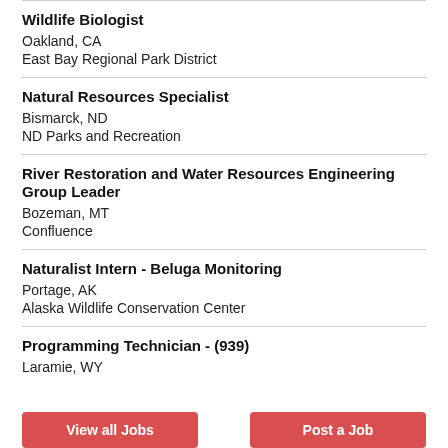Wildlife Biologist
Oakland, CA
East Bay Regional Park District
Natural Resources Specialist
Bismarck, ND
ND Parks and Recreation
River Restoration and Water Resources Engineering Group Leader
Bozeman, MT
Confluence
Naturalist Intern - Beluga Monitoring
Portage, AK
Alaska Wildlife Conservation Center
Programming Technician - (939)
Laramie, WY
View all Jobs
Post a Job